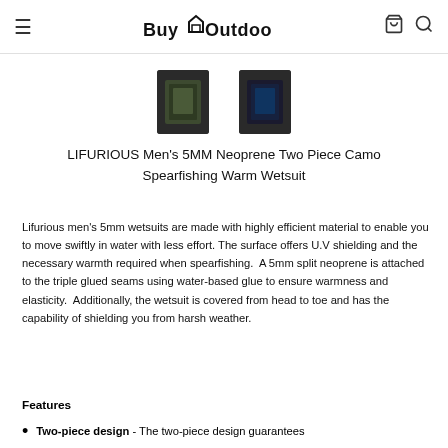≡  BuyOutdoors  🛒 🔍
[Figure (photo): Two product thumbnail images of a camo wetsuit]
LIFURIOUS Men's 5MM Neoprene Two Piece Camo Spearfishing Warm Wetsuit
Lifurious men's 5mm wetsuits are made with highly efficient material to enable you to move swiftly in water with less effort. The surface offers U.V shielding and the necessary warmth required when spearfishing. A 5mm split neoprene is attached to the triple glued seams using water-based glue to ensure warmness and elasticity. Additionally, the wetsuit is covered from head to toe and has the capability of shielding you from harsh weather.
Features
Two-piece design - The two-piece design guarantees